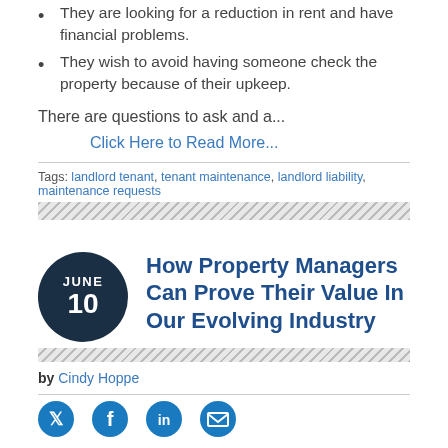They are looking for a reduction in rent and have financial problems.
They wish to avoid having someone check the property because of their upkeep.
There are questions to ask and a...
Click Here to Read More...
Tags: landlord tenant, tenant maintenance, landlord liability, maintenance requests
How Property Managers Can Prove Their Value In Our Evolving Industry
by Cindy Hoppe